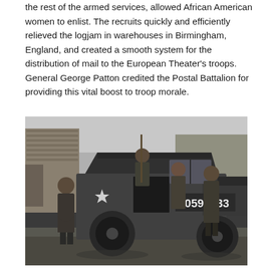the rest of the armed services, allowed African American women to enlist. The recruits quickly and efficiently relieved the logjam in warehouses in Birmingham, England, and created a smooth system for the distribution of mail to the European Theater's troops. General George Patton credited the Postal Battalion for providing this vital boost to troop morale.
[Figure (photo): Black and white photograph of African American women in military uniforms standing around and inside a military jeep with the number 20594533 painted on its side, outdoors with a brick building in the background.]